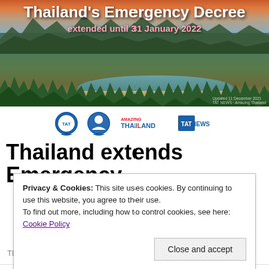[Figure (photo): Aerial/scenic photo of a Thai coastal bay with lush green mountains, palm trees, and turquoise water. Overlaid text reads 'Thailand's Emergency Decree extended until 31 January 2022'. Photo credit shown at bottom right.]
[Figure (logo): Row of logos: two circular blue/white icons, AMAZING THAILAND text logo, TAT NEWS logo]
Thailand extends Emergency
Privacy & Cookies: This site uses cookies. By continuing to use this website, you agree to their use.
To find out more, including how to control cookies, see here: Cookie Policy
Close and accept
Thailand Business News · December 11, 2021